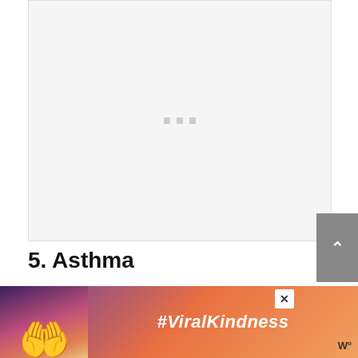[Figure (other): Advertisement placeholder area with three small gray squares as loading dots on a light gray background]
5. Asthma
Around one to five percent of cats can have asthma, a condition that affects the
[Figure (photo): Advertisement banner showing silhouette of hands forming a heart shape against a colorful sunset background with text #ViralKindness]